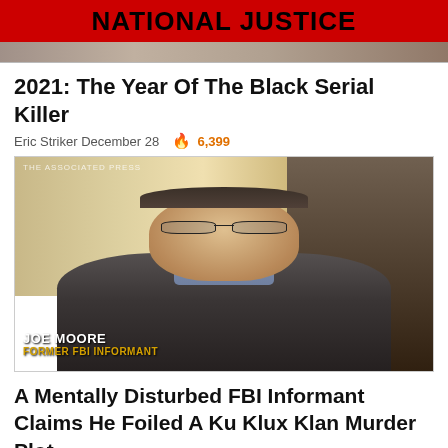NATIONAL JUSTICE
[Figure (photo): Cropped top portion of a previous article image]
2021: The Year Of The Black Serial Killer
Eric Striker December 28  🔥 6,399
[Figure (photo): Man in a dark blazer and light blue shirt wearing glasses, seated in an interview setting. Lower-third text reads: JOE MOORE / FORMER FBI INFORMANT. AP watermark visible top-left: THE ASSOCIATED PRESS]
A Mentally Disturbed FBI Informant Claims He Foiled A Ku Klux Klan Murder Plot.